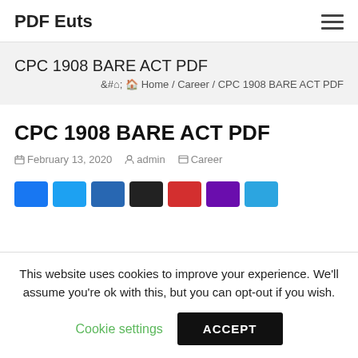PDF Euts
CPC 1908 BARE ACT PDF
Home / Career / CPC 1908 BARE ACT PDF
CPC 1908 BARE ACT PDF
February 13, 2020  admin  Career
[Figure (other): Social share buttons row: Facebook, Twitter, LinkedIn, X, YouTube, Pinterest, Telegram]
This website uses cookies to improve your experience. We'll assume you're ok with this, but you can opt-out if you wish.
Cookie settings  ACCEPT